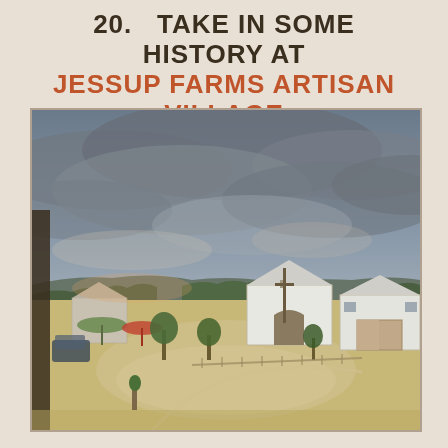20. TAKE IN SOME HISTORY AT JESSUP FARMS ARTISAN VILLAGE
[Figure (photo): Aerial/elevated view of Jessup Farms Artisan Village showing white farm buildings, a courtyard with young trees and walkways, outdoor seating areas with umbrellas, and dramatic cloudy sky at dusk.]